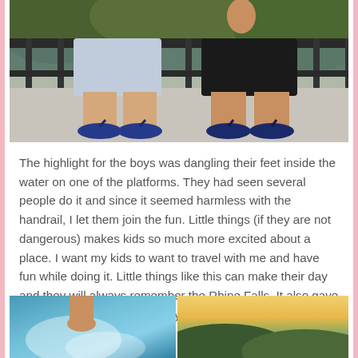[Figure (photo): Photo of two children's legs and feet wearing flip flops standing on a platform near a railing, likely at Rhine Falls]
The highlight for the boys was dangling their feet inside the water on one of the platforms. They had seen several people do it and since it seemed harmless with the handrail, I let them join the fun. Little things (if they are not dangerous) makes kids so much more excited about a place. I want my kids to want to travel with me and have fun while doing it. Little things like this can make their day and they will always remember the Rhine Falls. It also gave me a great picture opportunity.
[Figure (photo): Photo of feet dangling in blue water at Rhine Falls]
[Figure (photo): Landscape photo showing hillside scenery at sunset near Rhine Falls]